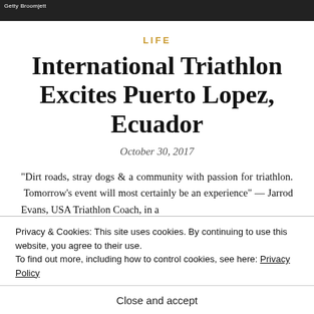[Figure (photo): Dark/black photo strip at top of page with a small photo credit overlay]
LIFE
International Triathlon Excites Puerto Lopez, Ecuador
October 30, 2017
“Dirt roads, stray dogs & a community with passion for triathlon. Tomorrow’s event will most certainly be an experience” — Jarrod Evans, USA Triathlon Coach, in a
Privacy & Cookies: This site uses cookies. By continuing to use this website, you agree to their use.
To find out more, including how to control cookies, see here: Privacy Policy
Close and accept
CAMTRI Triathlon American Championship for the first